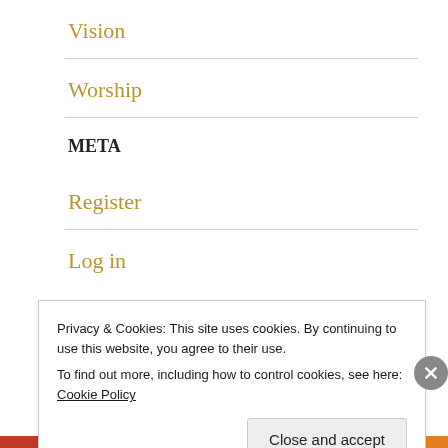Vision
Worship
META
Register
Log in
Privacy & Cookies: This site uses cookies. By continuing to use this website, you agree to their use.
To find out more, including how to control cookies, see here: Cookie Policy
Close and accept